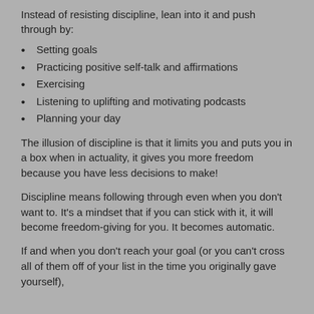Instead of resisting discipline, lean into it and push through by:
Setting goals
Practicing positive self-talk and affirmations
Exercising
Listening to uplifting and motivating podcasts
Planning your day
The illusion of discipline is that it limits you and puts you in a box when in actuality, it gives you more freedom because you have less decisions to make!
Discipline means following through even when you don't want to. It's a mindset that if you can stick with it, it will become freedom-giving for you. It becomes automatic.
If and when you don't reach your goal (or you can't cross all of them off of your list in the time you originally gave yourself),